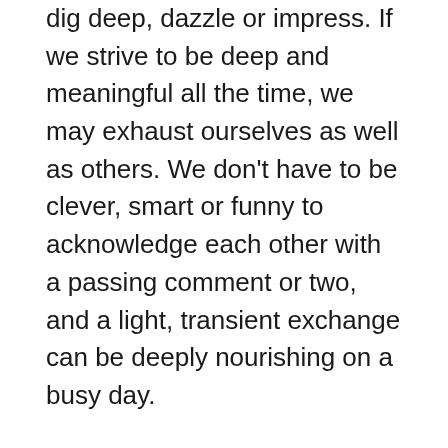dig deep, dazzle or impress. If we strive to be deep and meaningful all the time, we may exhaust ourselves as well as others. We don't have to be clever, smart or funny to acknowledge each other with a passing comment or two, and a light, transient exchange can be deeply nourishing on a busy day.
Talking about the weather is perfect because it's a neutral topic, and it lends itself to conversation in just about any situation. We don't have to think too hard about the weather, we all experience it, we're all affected by it, it's not too personal and it's constantly changing. We can safely strike up a conversation with just about anyone, anywhere, by